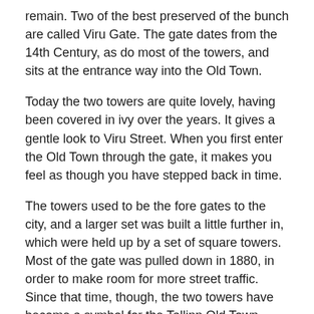remain. Two of the best preserved of the bunch are called Viru Gate. The gate dates from the 14th Century, as do most of the towers, and sits at the entrance way into the Old Town.
Today the two towers are quite lovely, having been covered in ivy over the years. It gives a gentle look to Viru Street. When you first enter the Old Town through the gate, it makes you feel as though you have stepped back in time.
The towers used to be the fore gates to the city, and a larger set was built a little further in, which were held up by a set of square towers. Most of the gate was pulled down in 1880, in order to make room for more street traffic. Since that time, though, the two towers have become a symbol for the Tallinn Old Town, which used to be the most fortified city in all of Europe back in the day.
Image Courtesy of Flickr and Leo-seta.